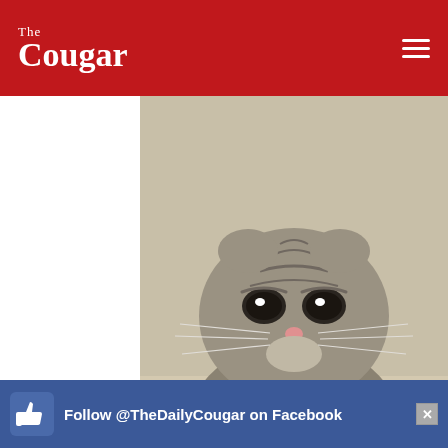The Cougar
[Figure (photo): Close-up photo of a sad-looking Scottish Fold kitten lying flat with paws extended forward, looking directly at camera with large dark eyes]
[IMPORTANT] 10 Ways to Show Your Cats You Love Them
ViralBezz
[Figure (photo): Partial photo of a woman with dark hair against a light background]
Follow @TheDailyCougar on Facebook